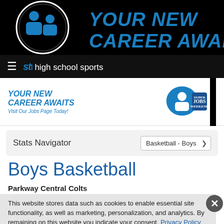[Figure (screenshot): Black header banner with blue 'YOUR NEW CAREER AWAITS' text and silhouette logo]
stl high school sports
[Figure (infographic): Ad banner: YOUR NEW CAREER AWAITS - Visit Our Jobs Page Today! with Super Jobs Weekend badge]
Stats Navigator  Basketball - Boys
Boys Basketball
Parkway Central Colts
369 Woods Mill Road
This website stores data such as cookies to enable essential site functionality, as well as marketing, personalization, and analytics. By remaining on this website you indicate your consent. Privacy Policy
Team: Schedule | Roster | Overall Stats | League Stats | Tournaments | Honor roll
League: Schedule | Standing | Overall Stats | League Stats | Tournaments | Honor roll